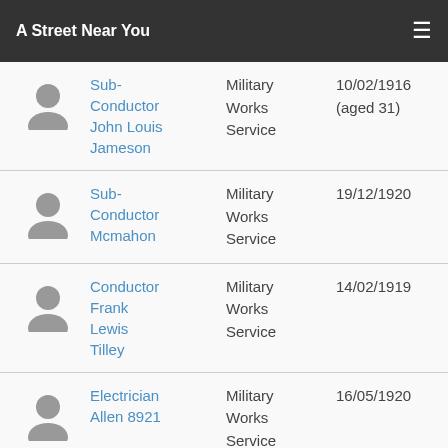A Street Near You
Sub-Conductor John Louis Jameson | Military Works Service | 10/02/1916 (aged 31)
Sub-Conductor Mcmahon | Military Works Service | 19/12/1920
Conductor Frank Lewis Tilley | Military Works Service | 14/02/1919
Electrician Allen 8921 | Military Works Service | 16/05/1920
Showing 1 to 10 of 10 entries